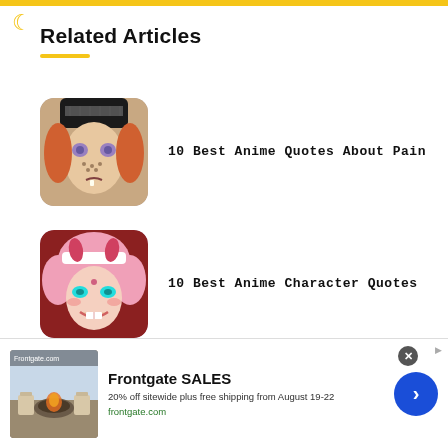Related Articles
[Figure (illustration): Anime character with orange/red hair, face markings, purple eyes - Naruto Pain character thumbnail with rounded corners]
10 Best Anime Quotes About Pain
[Figure (illustration): Anime girl with pink hair and horns, smiling - Zero Two character thumbnail with rounded corners]
10 Best Anime Character Quotes
[Figure (photo): Advertisement image showing outdoor patio furniture with fire pit]
Frontgate SALES
20% off sitewide plus free shipping from August 19-22
frontgate.com